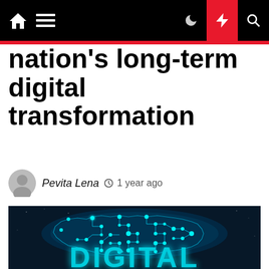Navigation bar with home, menu, dark mode, breaking news, and search icons
nation's long-term digital transformation
Pevita Lena  1 year ago
[Figure (illustration): Digital brain made of circuit board lines and glowing nodes on dark blue background, with 'DIGITAL' text in cyan at the bottom]